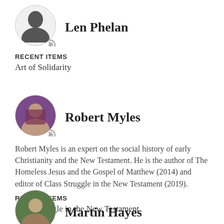Len Phelan
RECENT ITEMS
Art of Solidarity
Robert Myles
Robert Myles is an expert on the social history of early Christianity and the New Testament. He is the author of The Homeless Jesus and the Gospel of Matthew (2014) and editor of Class Struggle in the New Testament (2019).
RECENT ITEMS
Class struggle in the New Testament
Martin Hayes